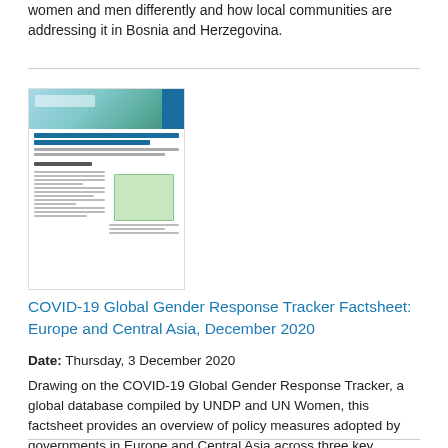women and men differently and how local communities are addressing it in Bosnia and Herzegovina.
[Figure (other): Thumbnail cover image of the COVID-19 Global Gender Response Tracker Factsheet document, showing a teal/blue gradient header with UNDP logo and document title text.]
COVID-19 Global Gender Response Tracker Factsheet: Europe and Central Asia, December 2020
Date: Thursday, 3 December 2020
Drawing on the COVID-19 Global Gender Response Tracker, a global database compiled by UNDP and UN Women, this factsheet provides an overview of policy measures adopted by governments in Europe and Central Asia across three key dimensions: the surge in violence against women and girls, the increased burden of unpaid care work, and women's economic insecurity due to losses in income, livelihood and jobs.